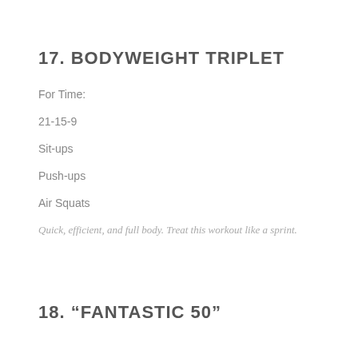17. BODYWEIGHT TRIPLET
For Time:
21-15-9
Sit-ups
Push-ups
Air Squats
Quick, efficient, and full body.  Treat this workout like a sprint.
18. “FANTASTIC 50”